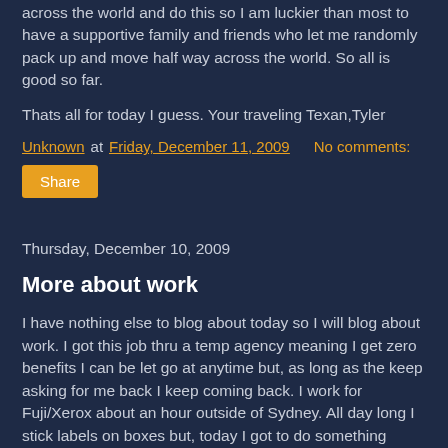across the world and do this so I am luckier than most to have a supportive family and friends who let me randomly pack up and move half way across the world. So all is good so far.
Thats all for today I guess. Your traveling Texan,Tyler
Unknown at Friday, December 11, 2009    No comments:
Share
Thursday, December 10, 2009
More about work
I have nothing else to blog about today so I will blog about work. I got this job thru a temp agency meaning I get zero benefits I can be let go at anytime but, as long as the keep asking for me back I keep coming back. I work for Fuji/Xerox about an hour outside of Sydney. All day long I stick labels on boxes but, today I got to do something different. I put warranty paperwork in boxes!